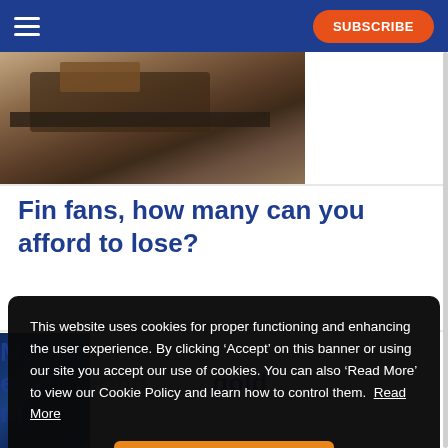SUBSCRIBE
[Figure (photo): Close-up photo of mechanical/industrial equipment, appears to be part of a fin fan or industrial machinery, photographed outdoors]
Fin fans, how many can you afford to lose?
This website uses cookies for proper functioning and enhancing the user experience. By clicking ‘Accept’ on this banner or using our site you accept our use of cookies. You can also ‘Read More’ to view our Cookie Policy and learn how to control them. Read More
M[aintenance and]... engineering [at a] gold m[ine]